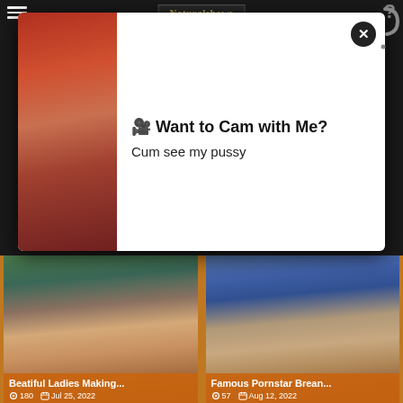[Figure (screenshot): Adult content website screenshot showing a popup overlay with text 'Want to Cam with Me? Cum see my pussy' and two thumbnail cards below with titles 'Beatiful Ladies Making...' and 'Famous Pornstar Brean...' with dates Jul 25, 2022 and Aug 12, 2022]
🎦 Want to Cam with Me?
Cum see my pussy
Beatiful Ladies Making...
Famous Pornstar Brean...